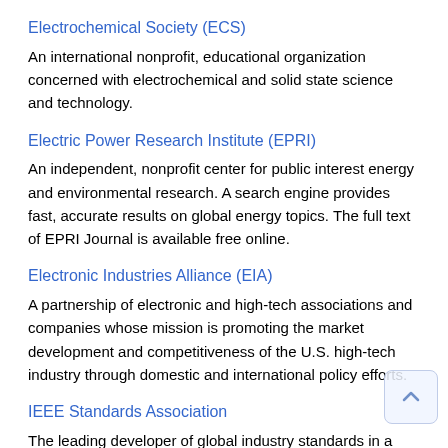Electrochemical Society (ECS)
An international nonprofit, educational organization concerned with electrochemical and solid state science and technology.
Electric Power Research Institute (EPRI)
An independent, nonprofit center for public interest energy and environmental research. A search engine provides fast, accurate results on global energy topics. The full text of EPRI Journal is available free online.
Electronic Industries Alliance (EIA)
A partnership of electronic and high-tech associations and companies whose mission is promoting the market development and competitiveness of the U.S. high-tech industry through domestic and international policy efforts.
IEEE Standards Association
The leading developer of global industry standards in a broad-range of industries. You can Search the IEEE Standards Catalog; order standards in hard copy; view or download IEEE